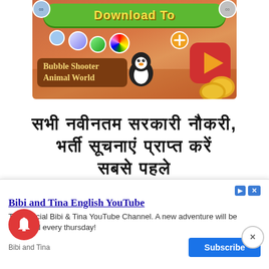[Figure (screenshot): Mobile game advertisement for 'Bubble Shooter Animal World' with a green Download button at top, colorful bubbles, penguin character, and game coins on an orange/brown background]
सभी नवीनतम सरकारी नौकरी, भर्ती सूचनाएं प्राप्त करें सबसे पहले
भारत के सबसे अच्छे और
[Figure (screenshot): Bottom advertisement banner for 'Bibi and Tina English YouTube' channel with Subscribe button]
Bibi and Tina English YouTube
The Official Bibi & Tina YouTube Channel. A new adventure will be uploaded every thursday!
Bibi and Tina